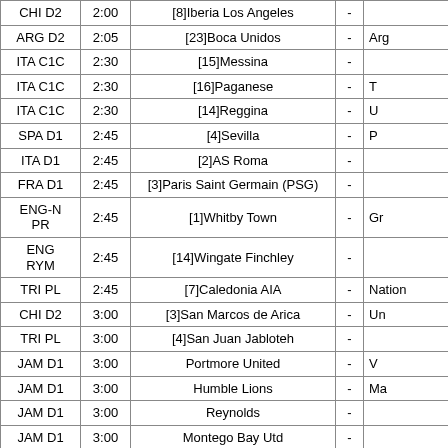| League | Time | Home Team | - | Away Team |
| --- | --- | --- | --- | --- |
| CHI D2 | 2:00 | [8]Iberia Los Angeles | - |  |
| ARG D2 | 2:05 | [23]Boca Unidos | - | Arg |
| ITA C1C | 2:30 | [15]Messina | - |  |
| ITA C1C | 2:30 | [16]Paganese | - | T |
| ITA C1C | 2:30 | [14]Reggina | - | U |
| SPA D1 | 2:45 | [4]Sevilla | - | P |
| ITA D1 | 2:45 | [2]AS Roma | - |  |
| FRA D1 | 2:45 | [3]Paris Saint Germain (PSG) | - |  |
| ENG-N PR | 2:45 | [1]Whitby Town | - | Gr |
| ENG RYM | 2:45 | [14]Wingate Finchley | - |  |
| TRI PL | 2:45 | [7]Caledonia AIA | - | Nation |
| CHI D2 | 3:00 | [3]San Marcos de Arica | - | Un |
| TRI PL | 3:00 | [4]San Juan Jabloteh | - |  |
| JAM D1 | 3:00 | Portmore United | - | V |
| JAM D1 | 3:00 | Humble Lions | - | Ma |
| JAM D1 | 3:00 | Reynolds | - |  |
| JAM D1 | 3:00 | Montego Bay Utd | - |  |
| SLV Rl | 3:00 | AD Isidro Metapan Reserves | - | CD Luis |
| ECU D2 | 3:00 | CD Cologne | - | Clu |
| ECU D2 | 3:00 | Tecnico Universitario | - | Socie |